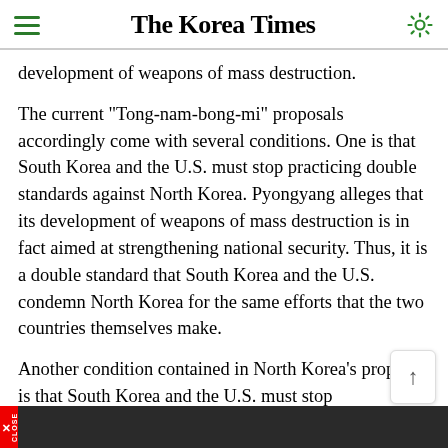The Korea Times
development of weapons of mass destruction.
The current "Tong-nam-bong-mi" proposals accordingly come with several conditions. One is that South Korea and the U.S. must stop practicing double standards against North Korea. Pyongyang alleges that its development of weapons of mass destruction is in fact aimed at strengthening national security. Thus, it is a double standard that South Korea and the U.S. condemn North Korea for the same efforts that the two countries themselves make.
Another condition contained in North Korea's proposal is that South Korea and the U.S. must stop